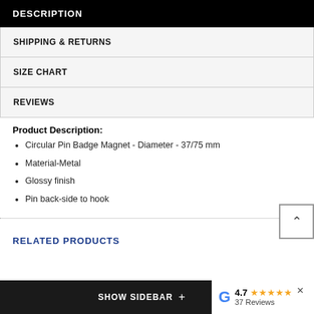DESCRIPTION
SHIPPING & RETURNS
SIZE CHART
REVIEWS
Product Description:
Circular Pin Badge Magnet - Diameter - 37/75 mm
Material-Metal
Glossy finish
Pin back-side to hook
RELATED PRODUCTS
SHOW SIDEBAR + | 4.7 ★★★★★ 37 Reviews